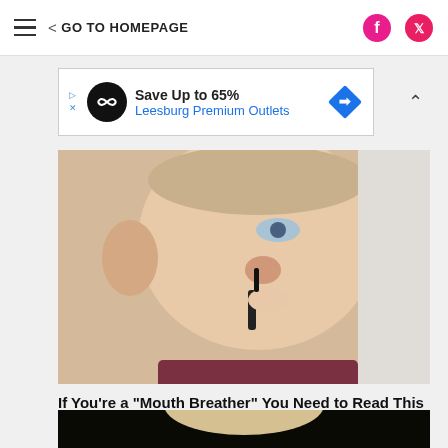GO TO HOMEPAGE
[Figure (other): Advertisement banner: Save Up to 65% Leesburg Premium Outlets]
[Figure (photo): Close-up of a young man inserting a black nasal device into his nose]
If You're a "Mouth Breather" You Need to Read This
Hale
[Figure (photo): Partial photo of a person with blonde hair, dark background]